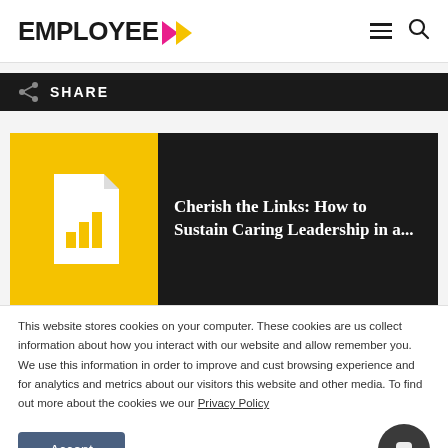EMPLOYEE
[Figure (screenshot): Share bar with share icon and SHARE text on dark background]
[Figure (illustration): Article card with yellow left panel showing document icon and dark right panel with article title 'Cherish the Links: How to Sustain Caring Leadership in a...']
Cherish the Links: How to Sustain Caring Leadership in a...
This website stores cookies on your computer. These cookies are us collect information about how you interact with our website and allow remember you. We use this information in order to improve and cust browsing experience and for analytics and metrics about our visitors this website and other media. To find out more about the cookies we our Privacy Policy
Accept